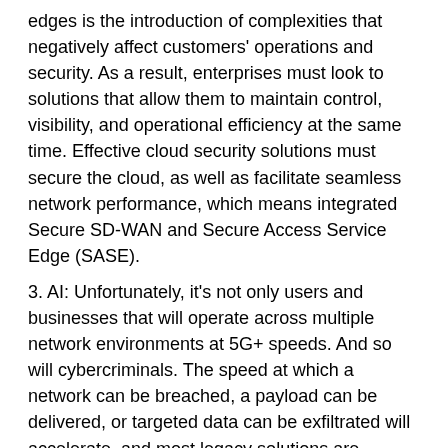edges is the introduction of complexities that negatively affect customers' operations and security. As a result, enterprises must look to solutions that allow them to maintain control, visibility, and operational efficiency at the same time. Effective cloud security solutions must secure the cloud, as well as facilitate seamless network performance, which means integrated Secure SD-WAN and Secure Access Service Edge (SASE).
3. AI: Unfortunately, it's not only users and businesses that will operate across multiple network environments at 5G+ speeds. And so will cybercriminals. The speed at which a network can be breached, a payload can be delivered, or targeted data can be exfiltrated will accelerate, and most legacy solutions are unprepared to identify and respond swiftly enough. This is especially true when different segments of the network are protected by isolated, hybrid security solutions that do not see or share information with other security devices deployed on other network platforms.